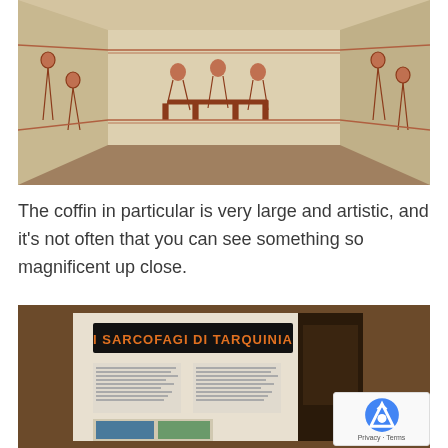[Figure (photo): Interior of an Etruscan tomb chamber with painted frescoes on walls showing figures, banquet scenes, and decorative borders in red and terracotta on cream/beige plaster walls. Sandy floor visible.]
The coffin in particular is very large and artistic, and it's not often that you can see something so magnificent up close.
[Figure (photo): Museum exhibit display showing a sign reading 'I SARCOFAGI DI TARQUINIA' in orange text on black background, with informational panels and display cases below. A reCAPTCHA badge is overlaid in the bottom-right corner.]